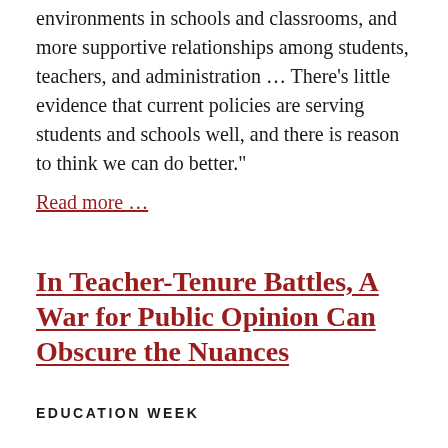environments in schools and classrooms, and more supportive relationships among students, teachers, and administration … There's little evidence that current policies are serving students and schools well, and there is reason to think we can do better."
Read more …
In Teacher-Tenure Battles, A War for Public Opinion Can Obscure the Nuances
EDUCATION WEEK
Education journalist Stephen Sawchuk writes,